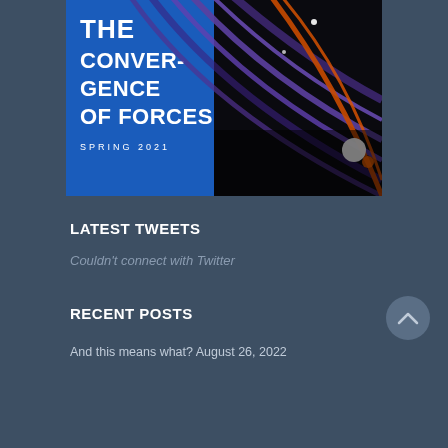[Figure (illustration): Magazine cover for 'The Convergence of Forces, Spring 2021'. Left portion has a blue background with bold white text. Right portion shows abstract curved light trails (purple, orange, white) on a black background.]
LATEST TWEETS
Couldn't connect with Twitter
RECENT POSTS
And this means what? August 26, 2022